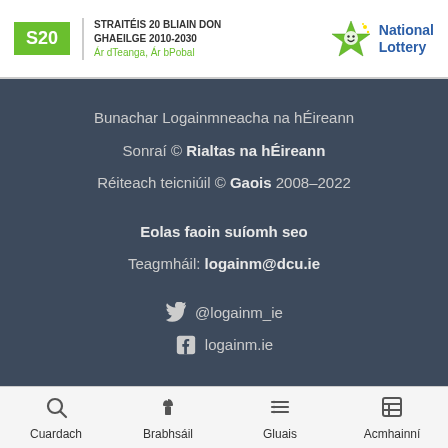[Figure (logo): S20 Straitéis 20 Bliain don Ghaeilge 2010-2030 logo with green box and text, alongside National Lottery star logo]
Bunachar Logainmneacha na hÉireann
Sonraí © Rialtas na hÉireann
Réiteach teicniúil © Gaois 2008–2022
Eolas faoin suíomh seo
Teagmháil: logainm@dcu.ie
@logainm_ie
logainm.ie
Cuardach  Brabhsáil  Gluais  Acmhainní